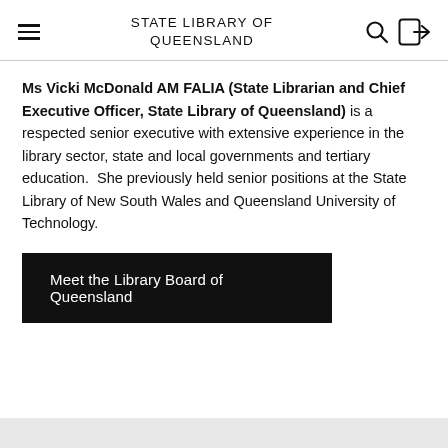STATE LIBRARY OF QUEENSLAND
Ms Vicki McDonald AM FALIA (State Librarian and Chief Executive Officer, State Library of Queensland) is a respected senior executive with extensive experience in the library sector, state and local governments and tertiary education.  She previously held senior positions at the State Library of New South Wales and Queensland University of Technology.
Meet the Library Board of Queensland